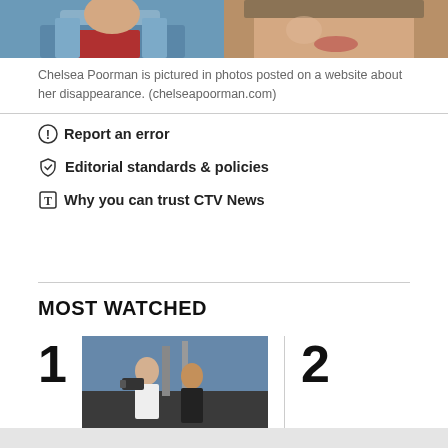[Figure (photo): Two photos of Chelsea Poorman side by side — left shows a woman in a denim jacket and red shirt, right shows a close-up of a woman's face with a hat]
Chelsea Poorman is pictured in photos posted on a website about her disappearance. (chelseapoorman.com)
Report an error
Editorial standards & policies
Why you can trust CTV News
MOST WATCHED
[Figure (photo): Photo of people on a film set or outdoor scene with a man in a white shirt and another in a black jacket]